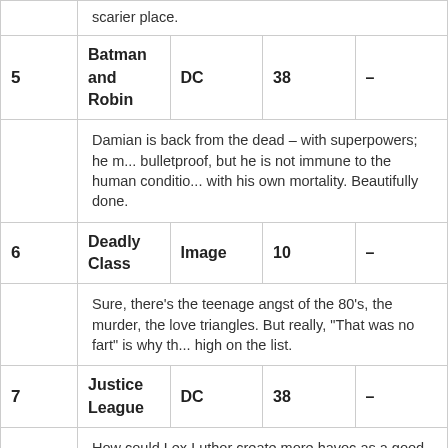| # | Title | Publisher | Issues |  |
| --- | --- | --- | --- | --- |
|  | scarier place. |  |  |  |
| 5 | Batman and Robin | DC | 38 | – |
|  | Damian is back from the dead – with superpowers; he m... bulletproof, but he is not immune to the human conditi... with his own mortality. Beautifully done. |  |  |  |
| 6 | Deadly Class | Image | 10 | – |
|  | Sure, there's the teenage angst of the 80's, the murder, the love triangles. But really, "That was no fart" is why th... high on the list. |  |  |  |
| 7 | Justice League | DC | 38 | – |
|  | How could Lex Luthor create more havoc as a good guy... villain... In any case, a zombie Batman JL vs. Supes and V... popcorn. |  |  |  |
| 8 | TMNT | IDW | 42 | – |